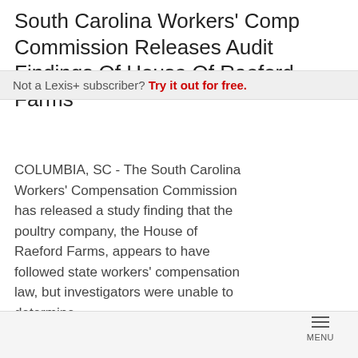South Carolina Workers' Comp Commission Releases Audit Findings Of House Of Raeford Farms
Not a Lexis+ subscriber? Try it out for free.
COLUMBIA, SC - The South Carolina Workers' Compensation Commission has released a study finding that the poultry company, the House of Raeford Farms, appears to have followed state workers' compensation law, but investigators were unable to determine...
[Figure (other): Navigation UI with forward skip button (double right arrow), next page button (blue right chevron), and previous page button (gray left chevron), plus bottom menu bar with hamburger menu icon labeled MENU]